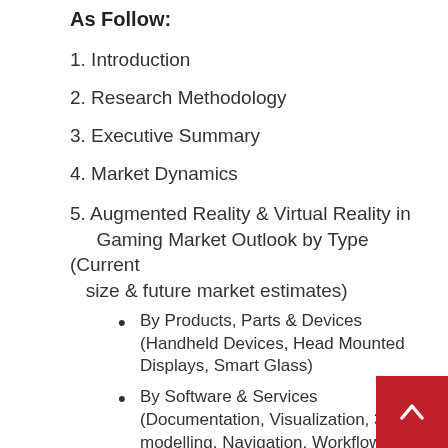As Follow:
1. Introduction
2. Research Methodology
3. Executive Summary
4. Market Dynamics
5. Augmented Reality & Virtual Reality in Gaming Market Outlook by Type (Current size & future market estimates)
By Products, Parts & Devices (Handheld Devices, Head Mounted Displays, Smart Glass)
By Software & Services (Documentation, Visualization, 3 modelling, Navigation, Workflow optimisation, Others)